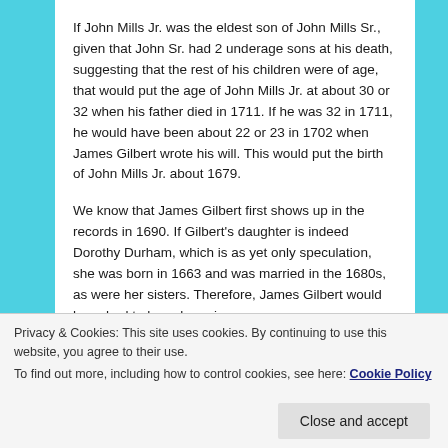If John Mills Jr. was the eldest son of John Mills Sr., given that John Sr. had 2 underage sons at his death, suggesting that the rest of his children were of age, that would put the age of John Mills Jr. at about 30 or 32 when his father died in 1711. If he was 32 in 1711, he would have been about 22 or 23 in 1702 when James Gilbert wrote his will. This would put the birth of John Mills Jr. about 1679.
We know that James Gilbert first shows up in the records in 1690. If Gilbert's daughter is indeed Dorothy Durham, which is as yet only speculation, she was born in 1663 and was married in the 1680s, as were her sisters. Therefore, James Gilbert would have had to have been in
Privacy & Cookies: This site uses cookies. By continuing to use this website, you agree to their use.
To find out more, including how to control cookies, see here: Cookie Policy
of James Gilbert and his wife Mary, although I think it's